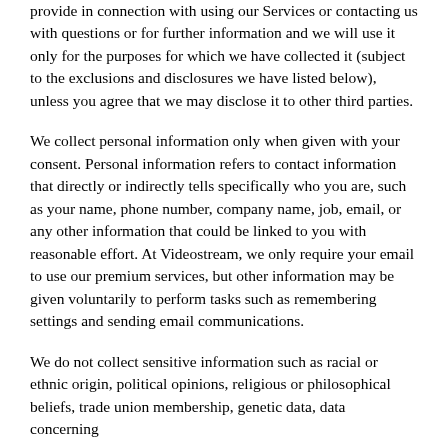provide in connection with using our Services or contacting us with questions or for further information and we will use it only for the purposes for which we have collected it (subject to the exclusions and disclosures we have listed below), unless you agree that we may disclose it to other third parties.
We collect personal information only when given with your consent. Personal information refers to contact information that directly or indirectly tells specifically who you are, such as your name, phone number, company name, job, email, or any other information that could be linked to you with reasonable effort. At Videostream, we only require your email to use our premium services, but other information may be given voluntarily to perform tasks such as remembering settings and sending email communications.
We do not collect sensitive information such as racial or ethnic origin, political opinions, religious or philosophical beliefs, trade union membership, genetic data, data concerning